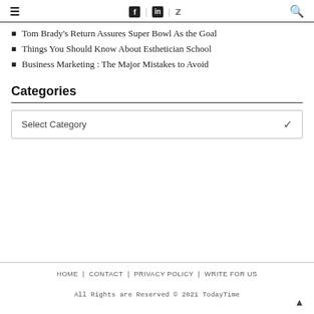≡ | f | in | 🐦 | 🔍
Tom Brady's Return Assures Super Bowl As the Goal
Things You Should Know About Esthetician School
Business Marketing : The Major Mistakes to Avoid
Categories
Select Category
HOME | CONTACT | PRIVACY POLICY | WRITE FOR US
All Rights are Reserved © 2021 TodayTime